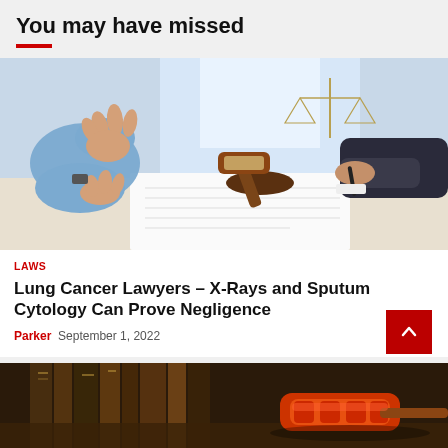You may have missed
[Figure (photo): Legal consultation scene: two people gesturing with hands over a notebook, a judge's gavel in the center, and a scales of justice in the background]
LAWS
Lung Cancer Lawyers – X-Rays and Sputum Cytology Can Prove Negligence
Parker  September 1, 2022
[Figure (photo): Law books and a red/orange gavel on a dark wooden surface]